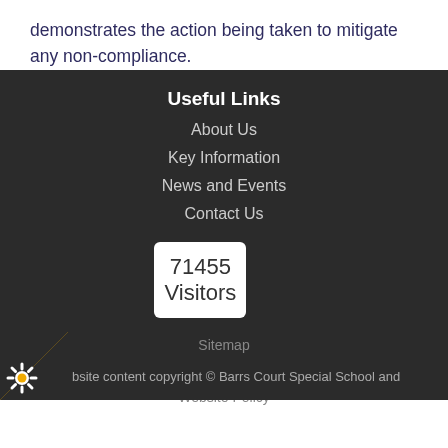demonstrates the action being taken to mitigate any non-compliance.
Useful Links
About Us
Key Information
News and Events
Contact Us
71455 Visitors
Sitemap
Cookie Information
Website Policy
bsite content copyright © Barrs Court Special School and